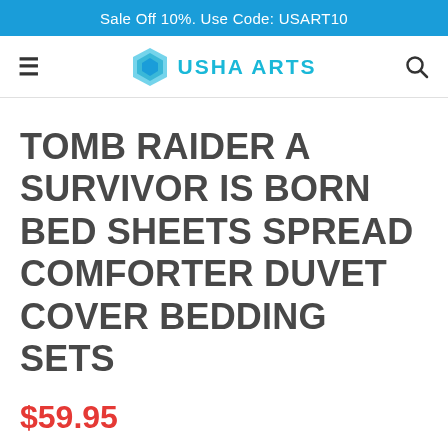Sale Off 10%. Use Code: USART10
[Figure (logo): Usha Arts logo with hexagon icon and teal text]
TOMB RAIDER A SURVIVOR IS BORN BED SHEETS SPREAD COMFORTER DUVET COVER BEDDING SETS
$59.95